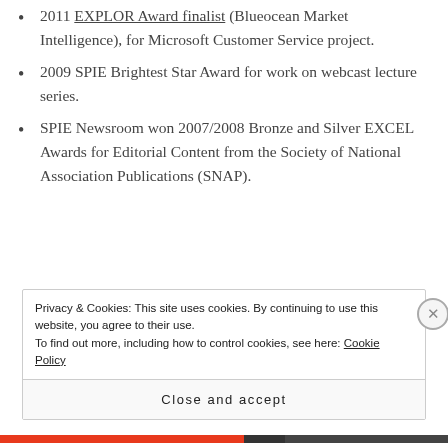2011 EXPLOR Award finalist (Blueocean Market Intelligence), for Microsoft Customer Service project.
2009 SPIE Brightest Star Award for work on webcast lecture series.
SPIE Newsroom won 2007/2008 Bronze and Silver EXCEL Awards for Editorial Content from the Society of National Association Publications (SNAP).
Privacy & Cookies: This site uses cookies. By continuing to use this website, you agree to their use. To find out more, including how to control cookies, see here: Cookie Policy
Close and accept